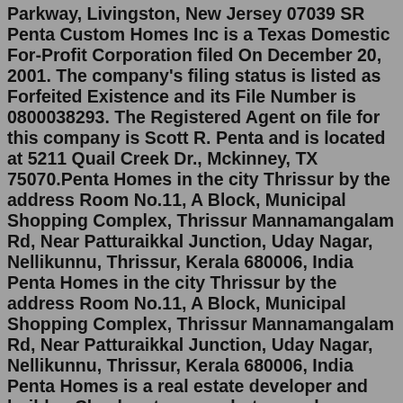Parkway, Livingston, New Jersey 07039 SR Penta Custom Homes Inc is a Texas Domestic For-Profit Corporation filed On December 20, 2001. The company's filing status is listed as Forfeited Existence and its File Number is 0800038293. The Registered Agent on file for this company is Scott R. Penta and is located at 5211 Quail Creek Dr., Mckinney, TX 75070.Penta Homes in the city Thrissur by the address Room No.11, A Block, Municipal Shopping Complex, Thrissur Mannamangalam Rd, Near Patturaikkal Junction, Uday Nagar, Nellikunnu, Thrissur, Kerala 680006, India Penta Homes in the city Thrissur by the address Room No.11, A Block, Municipal Shopping Complex, Thrissur Mannamangalam Rd, Near Patturaikkal Junction, Uday Nagar, Nellikunnu, Thrissur, Kerala 680006, India Penta Homes is a real estate developer and builder. Check out maps, photos, and additional info for this builder's new construction developments at BuzzBuzzHome. Conversion of an existing office building, to provide six luxury apartments, with